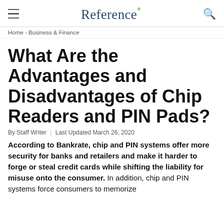Reference*
Home › Business & Finance
What Are the Advantages and Disadvantages of Chip Readers and PIN Pads?
By Staff Writer | Last Updated March 26, 2020
According to Bankrate, chip and PIN systems offer more security for banks and retailers and make it harder to forge or steal credit cards while shifting the liability for misuse onto the consumer. In addition, chip and PIN systems force consumers to memorize